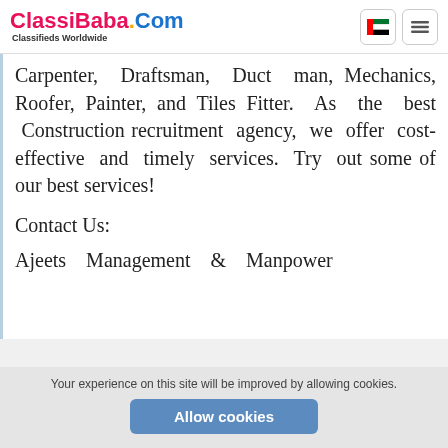ClassiBaba.Com — Classifieds Worldwide
Carpenter, Draftsman, Duct man, Mechanics, Roofer, Painter, and Tiles Fitter. As the best Construction recruitment agency, we offer cost-effective and timely services. Try out some of our best services!
Contact Us:
Ajeets Management & Manpower
Your experience on this site will be improved by allowing cookies.